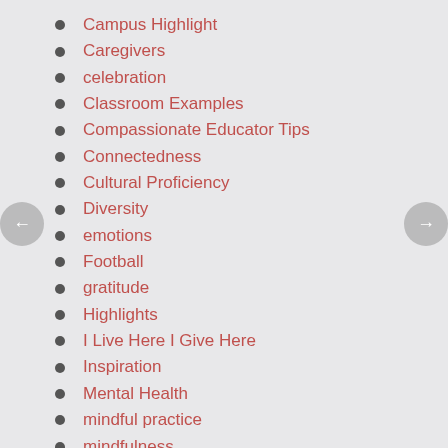Campus Highlight
Caregivers
celebration
Classroom Examples
Compassionate Educator Tips
Connectedness
Cultural Proficiency
Diversity
emotions
Football
gratitude
Highlights
I Live Here I Give Here
Inspiration
Mental Health
mindful practice
mindfulness